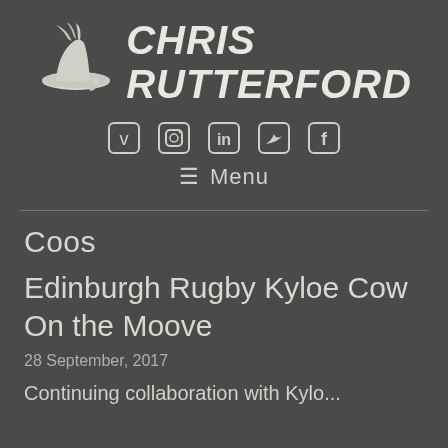[Figure (logo): Chris Rutterford logo with stylized hat/brush illustration and handwritten-style text reading CHRIS RUTTERFORD]
[Figure (infographic): Row of social media icons: Vimeo, Instagram, LinkedIn, Twitter, Facebook]
≡ Menu
Coos
Edinburgh Rugby Kyloe Cow On the Moove
28 September, 2017
Continuing collaboration with Kylo...